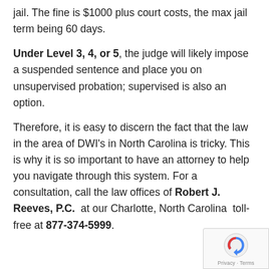jail.  The fine is $1000 plus court costs, the max jail term being 60 days.
Under Level 3, 4, or 5, the judge will likely impose a suspended sentence and place you on unsupervised probation; supervised is also an option.
Therefore, it is easy to discern the fact that the law in the area of DWI's in North Carolina is tricky.  This is why it is so important to have an attorney to help you navigate through this system. For a consultation, call the law offices of Robert J. Reeves, P.C.  at our Charlotte, North Carolina  toll-free at 877-374-5999.